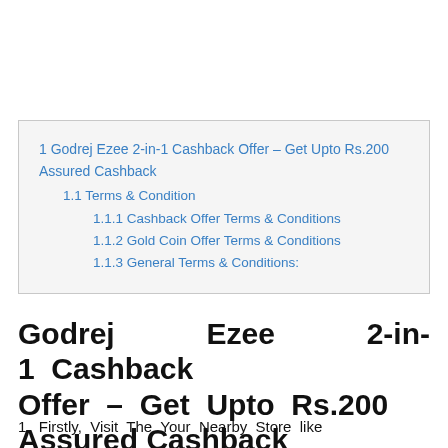| 1 Godrej Ezee 2-in-1 Cashback Offer – Get Upto Rs.200 Assured Cashback |
| 1.1 Terms & Condition |
| 1.1.1 Cashback Offer Terms & Conditions |
| 1.1.2 Gold Coin Offer Terms & Conditions |
| 1.1.3 General Terms & Conditions: |
Godrej Ezee 2-in-1 Cashback Offer – Get Upto Rs.200 Assured Cashback
1.  Firstly, Visit The Your Nearby Store like